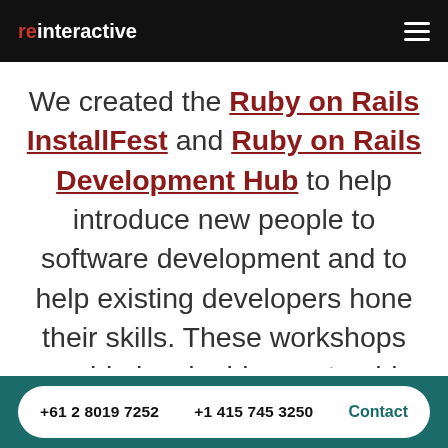reinteractive
We created the Ruby on Rails InstallFest and Ruby on Rails Development Hub to help introduce new people to software development and to help existing developers hone their skills. These workshops provide invaluable mentorship to train developers, addressing key skills shortages in the industry. Software
+61 2 8019 7252    +1 415 745 3250    Contact